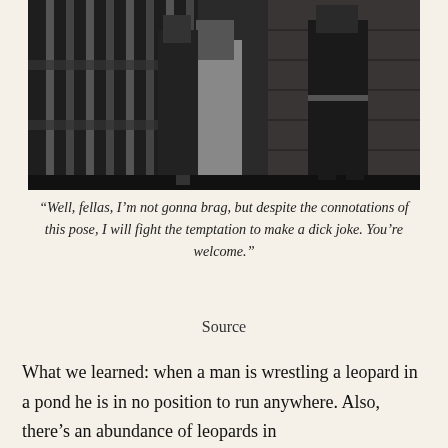[Figure (photo): Black and white photograph of people standing near jail cell bars, figures in formal/military attire]
“Well, fellas, I’m not gonna brag, but despite the connotations of this pose, I will fight the temptation to make a dick joke. You’re welcome.”
Source
What we learned: when a man is wrestling a leopard in a pond he is in no position to run anywhere. Also, there’s an abundance of leopards in